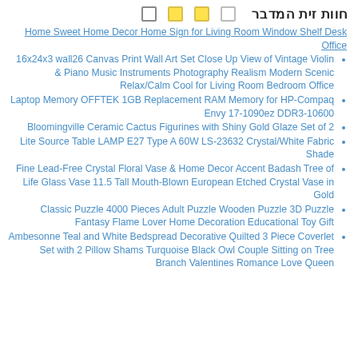חוות זית המדבר
Home Sweet Home Decor Home Sign for Living Room Window Shelf Desk Office
16x24x3 wall26 Canvas Print Wall Art Set Close Up View of Vintage Violin & Piano Music Instruments Photography Realism Modern Scenic Relax/Calm Cool for Living Room Bedroom Office
Laptop Memory OFFTEK 1GB Replacement RAM Memory for HP-Compaq Envy 17-1090ez DDR3-10600
Bloomingville Ceramic Cactus Figurines with Shiny Gold Glaze Set of 2
Lite Source Table LAMP E27 Type A 60W LS-23632 Crystal/White Fabric Shade
Fine Lead-Free Crystal Floral Vase & Home Decor Accent Badash Tree of Life Glass Vase 11.5 Tall Mouth-Blown European Etched Crystal Vase in Gold
Classic Puzzle 4000 Pieces Adult Puzzle Wooden Puzzle 3D Puzzle Fantasy Flame Lover Home Decoration Educational Toy Gift
Ambesonne Teal and White Bedspread Decorative Quilted 3 Piece Coverlet Set with 2 Pillow Shams Turquoise Black Owl Couple Sitting on Tree Branch Valentines Romance Love Queen